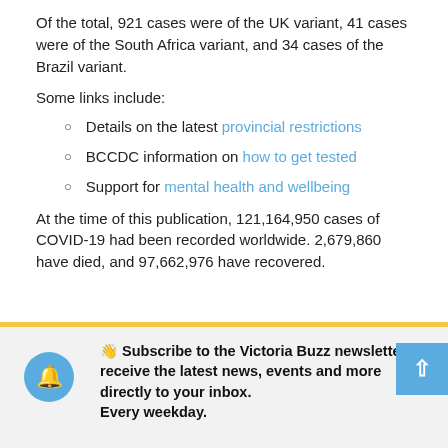Of the total, 921 cases were of the UK variant, 41 cases were of the South Africa variant, and 34 cases of the Brazil variant.
Some links include:
Details on the latest provincial restrictions
BCCDC information on how to get tested
Support for mental health and wellbeing
At the time of this publication, 121,164,950 cases of COVID-19 had been recorded worldwide. 2,679,860 have died, and 97,662,976 have recovered.
👋 Subscribe to the Victoria Buzz newsletter to receive the latest news, events and more directly to your inbox. Every weekday.